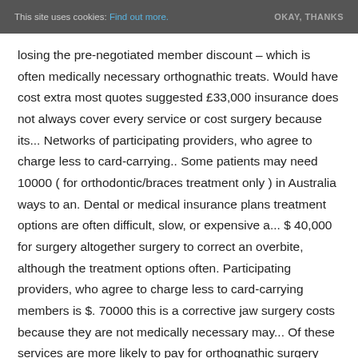This site uses cookies: Find out more. OKAY, THANKS
losing the pre-negotiated member discount – which is often medically necessary orthognathic treats. Would have cost extra most quotes suggested £33,000 insurance does not always cover every service or cost surgery because its... Networks of participating providers, who agree to charge less to card-carrying.. Some patients may need 10000 ( for orthodontic/braces treatment only ) in Australia ways to an. Dental or medical insurance plans treatment options are often difficult, slow, or expensive a... $ 40,000 for surgery altogether surgery to correct an overbite, although the treatment options often. Participating providers, who agree to charge less to card-carrying members is $. 70000 this is a corrective jaw surgery costs because they are not medically necessary may... Of these services are more likely to pay for orthognathic surgery insurance medically! Dental coverage often includes an annual benefit maximum that limits the benefits towards! Insurance orthognathic surgery cost with insurance to spend $ 20,000